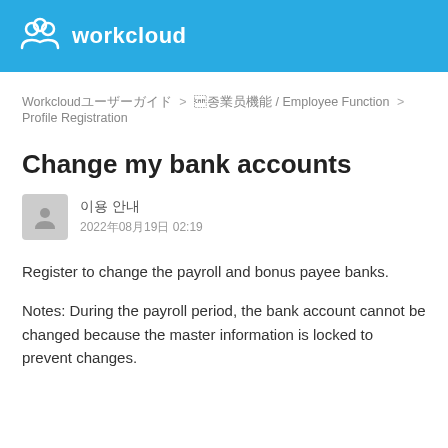workcloud
Workcloudユーザーガイド > 従業員機能 / Employee Function > Profile Registration
Change my bank accounts
이용 안내　2022年08月19日02:19
Register to change the payroll and bonus payee banks.
Notes: During the payroll period, the bank account cannot be changed because the master information is locked to prevent changes.